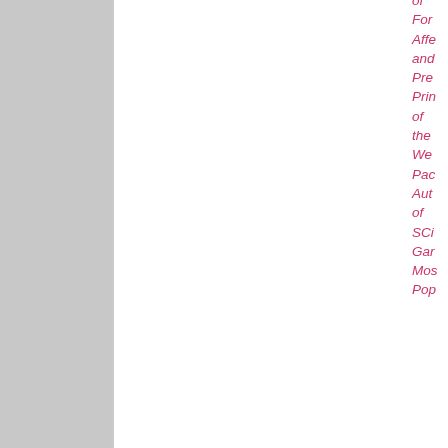[Figure (screenshot): Forum post card top portion showing right sidebar with italic pink/red text (of, For, Affe, and, Pre, Prin, of, the, We, Pac, Aut, of, SCi, Gar, Mos, Pop) and a scroll-up button]
[Figure (screenshot): Forum avatar image for Refuge Isle - fantasy/sci-fi scene with blue tones, trees, circular structure and dark figure silhouette]
Refuge Isle
Ambassador

Posts: 1138
Founded: Dec 14, 2018
Left-wing Utopia
QUOTE
by Refuge Isle
» Fri Jan 14, 2022 11:05 am

Re